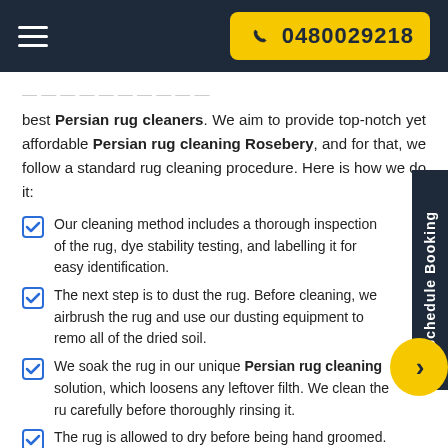☰  0480029218
best Persian rug cleaners. We aim to provide top-notch yet affordable Persian rug cleaning Rosebery, and for that, we follow a standard rug cleaning procedure. Here is how we do it:
Our cleaning method includes a thorough inspection of the rug, dye stability testing, and labelling it for easy identification.
The next step is to dust the rug. Before cleaning, we airbrush the rug and use our dusting equipment to remove all of the dried soil.
We soak the rug in our unique Persian rug cleaning solution, which loosens any leftover filth. We clean the rug carefully before thoroughly rinsing it.
The rug is allowed to dry before being hand groomed.
We double-check the rug and retouch the fringes. After the